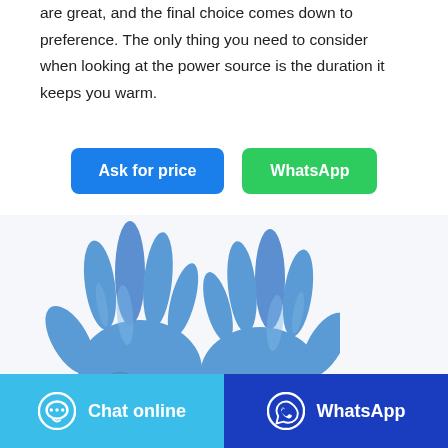are great, and the final choice comes down to preference. The only thing you need to consider when looking at the power source is the duration it keeps you warm.
[Figure (other): Two blue buttons: 'Ask for price' (blue) and 'WhatsApp' (green)]
[Figure (photo): Two blue nitrile/latex disposable gloves displayed side by side on white background, with the number 10 in the upper right]
Chat online   WhatsApp